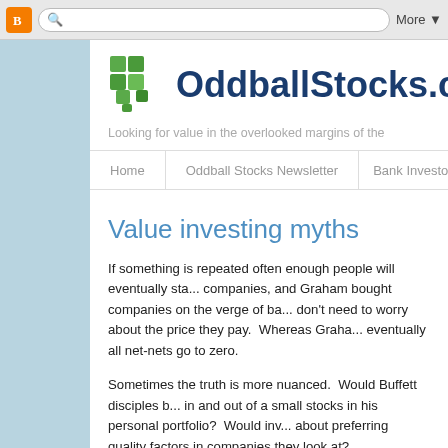Blogger navigation bar with search and More button
OddballStocks.com
Looking for value in the overlooked margins of the
Home | Oddball Stocks Newsletter | Bank Investor's Han
Value investing myths
If something is repeated often enough people will eventually sta... companies, and Graham bought companies on the verge of ba... don't need to worry about the price they pay.  Whereas Graha... eventually all net-nets go to zero.
Sometimes the truth is more nuanced.  Would Buffett disciples b... in and out of a small stocks in his personal portfolio?  Would inv... about preferring quality factors in companies they look at?
On Buffett: In 1999 he purchased a $3.3m stake in Bell Industri